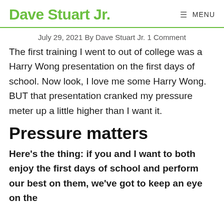Dave Stuart Jr. MENU
July 29, 2021 By Dave Stuart Jr. 1 Comment
The first training I went to out of college was a Harry Wong presentation on the first days of school. Now look, I love me some Harry Wong. BUT that presentation cranked my pressure meter up a little higher than I want it.
Pressure matters
Here's the thing: if you and I want to both enjoy the first days of school and perform our best on them, we've got to keep an eye on the